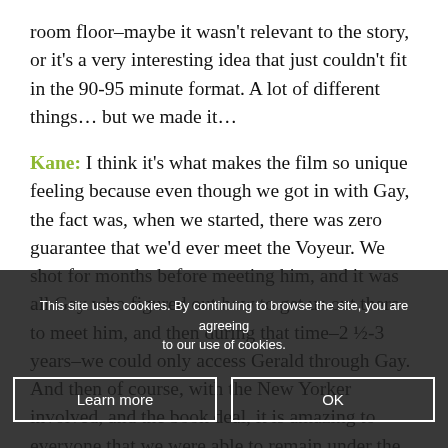room floor–maybe it wasn't relevant to the story, or it's a very interesting idea that just couldn't fit in the 90-95 minute format. A lot of different things… but we made it…
Kane: I think it's what makes the film so unique feeling because even though we got in with Gay, the fact was, when we started, there was zero guarantee that we'd ever meet the Voyeur. We shot for months before meeting him, and it was all Gay who figured out how to get us out there to meet him, and then during that time–2 ½-3 years–we could only access Gerald through Gay. And then of course, with the New Yorker involved, and the book deal, it is amazing to everyone that we were able to remain under the radar and that all these outside corporate and business interests didn't really get in the way or try to stop us, which was a worry, especially with a high profile writer.
This site uses cookies. By continuing to browse the site, you are agreeing to our use of cookies.